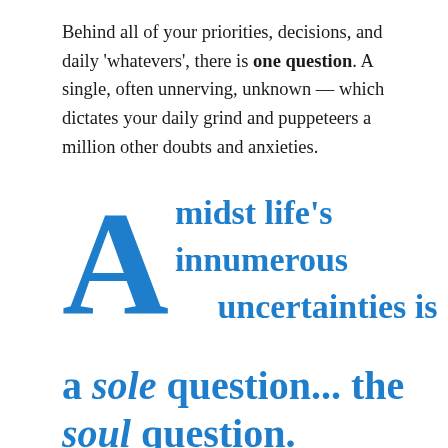Behind all of your priorities, decisions, and daily 'whatevers', there is one question. A single, often unnerving, unknown — which dictates your daily grind and puppeteers a million other doubts and anxieties.
Midst life's innumerous uncertainties is a sole question... the soul question.